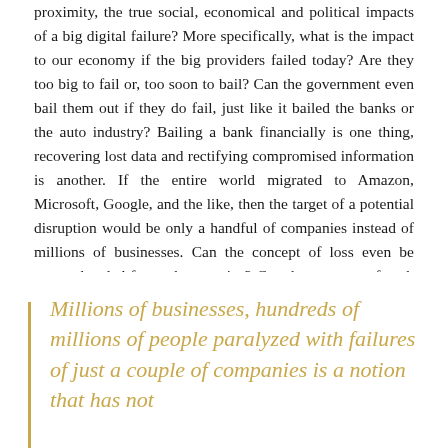proximity, the true social, economical and political impacts of a big digital failure? More specifically, what is the impact to our economy if the big providers failed today? Are they too big to fail or, too soon to bail? Can the government even bail them out if they do fail, just like it bailed the banks or the auto industry? Bailing a bank financially is one thing, recovering lost data and rectifying compromised information is another. If the entire world migrated to Amazon, Microsoft, Google, and the like, then the target of a potential disruption would be only a handful of companies instead of millions of businesses. Can the concept of loss even be comprehended for such scenarios? Can the measure of such loss be numerically displayed?
Millions of businesses, hundreds of millions of people paralyzed with failures of just a couple of companies is a notion that has not